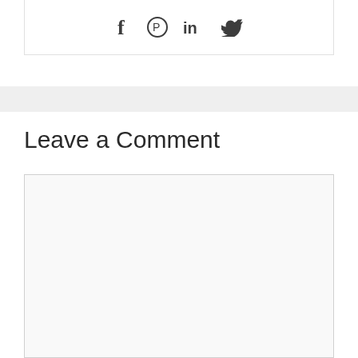[Figure (other): Social share icons: Facebook (f), Pinterest (circle-P), LinkedIn (in), Twitter (bird)]
Leave a Comment